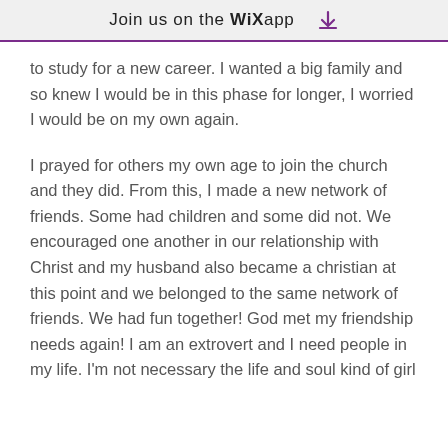Join us on the WiX app ↓
to study for a new career.  I wanted a big family and so knew I would be in this phase for longer, I worried I would be on my own again.
I prayed for others my own age to join the church and they did. From this, I made a new network of friends.  Some had children and some did not.  We encouraged one another in our relationship with Christ and my husband also became a christian at this point and we belonged to the same network of friends.  We had fun together! God met my friendship needs again! I am an extrovert and I need people in my life. I'm not necessary the life and soul kind of girl